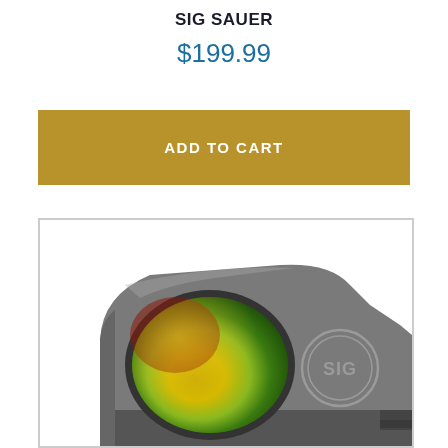SIG SAUER
$199.99
ADD TO CART
[Figure (photo): Product photo of a Sig Sauer red dot sight / reflex sight. The optic is matte gray/gunmetal colored with a large oval lens showing green and orange/yellow tinted glass. The SIG logo (circular emblem with 'SIG' text) is engraved on the body. The sight is shown at an angle on a white background.]